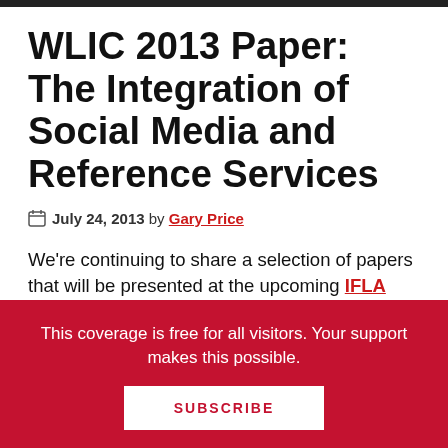WLIC 2013 Paper: The Integration of Social Media and Reference Services
July 24, 2013 by Gary Price
We're continuing to share a selection of papers that will be presented at the upcoming IFLA World Library and Information Congress (WLIC) taking place next month in Singapore.
Our first three selections are linked at the bottom
This coverage is free for all visitors. Your support makes this possible.
SUBSCRIBE